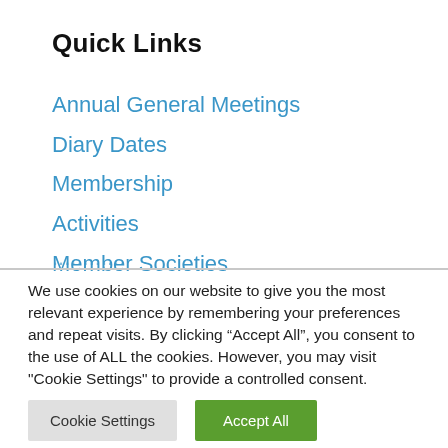Quick Links
Annual General Meetings
Diary Dates
Membership
Activities
Member Societies
We use cookies on our website to give you the most relevant experience by remembering your preferences and repeat visits. By clicking “Accept All”, you consent to the use of ALL the cookies. However, you may visit "Cookie Settings" to provide a controlled consent.